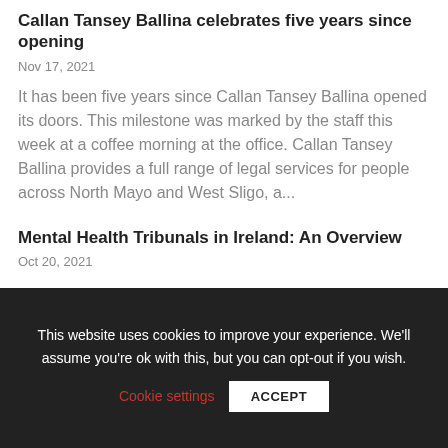Callan Tansey Ballina celebrates five years since opening
Nov 17, 2021
It has been five years since Callan Tansey Ballina opened its doors. This milestone was marked by the staff this week at a coffee morning at the office. Callan Tansey Ballina provides a full range of legal services for people across North Mayo and West Sligo, a...
Mental Health Tribunals in Ireland: An Overview
Oct 20, 2021
This website uses cookies to improve your experience. We'll assume you're ok with this, but you can opt-out if you wish.
Cookie settings  ACCEPT